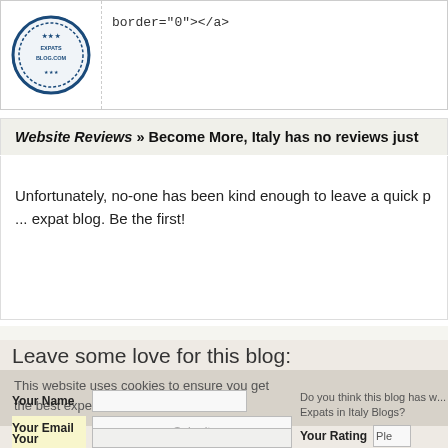[Figure (logo): Expats Blog circular badge/seal logo in dark blue]
border="0"></a>
Website Reviews » Become More, Italy has no reviews just
Unfortunately, no-one has been kind enough to leave a quick p... expat blog. Be the first!
Leave some love for this blog:
This website uses cookies to ensure you get the best experience on our website.
Learn more
Do you think this blog has w... Expats in Italy Blogs?
Your Name
Your Email
Your Rating
Ple
Submit
Your